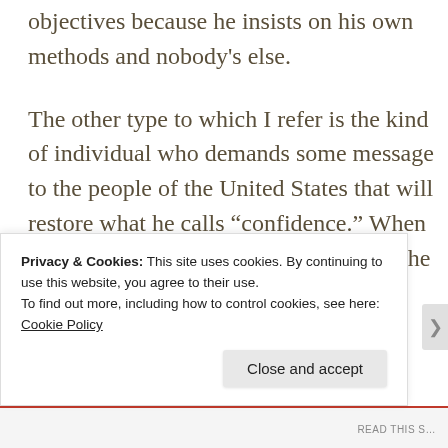objectives because he insists on his own methods and nobody's else.
The other type to which I refer is the kind of individual who demands some message to the people of the United States that will restore what he calls “confidence.” When I hear this I cannot help but remember the
Privacy & Cookies: This site uses cookies. By continuing to use this website, you agree to their use.
To find out more, including how to control cookies, see here: Cookie Policy
Close and accept
READ THIS S...